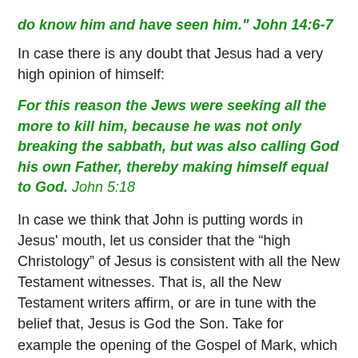do know him and have seen him." John 14:6-7
In case there is any doubt that Jesus had a very high opinion of himself:
For this reason the Jews were seeking all the more to kill him, because he was not only breaking the sabbath, but was also calling God his own Father, thereby making himself equal to God. John 5:18
In case we think that John is putting words in Jesus’ mouth, let us consider that the “high Christology” of Jesus is consistent with all the New Testament witnesses. That is, all the New Testament writers affirm, or are in tune with the belief that, Jesus is God the Son. Take for example the opening of the Gospel of Mark, which is the most “down to earth” of the four Gospels;